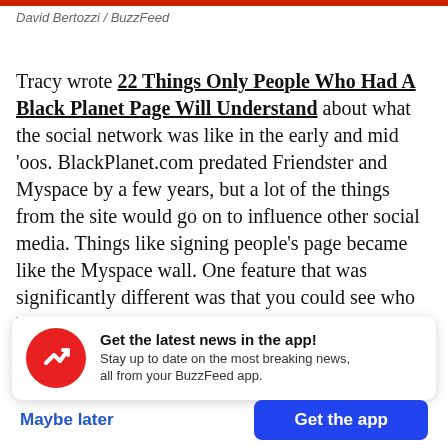David Bertozzi / BuzzFeed
Tracy wrote 22 Things Only People Who Had A Black Planet Page Will Understand about what the social network was like in the early and mid 'oos. BlackPlanet.com predated Friendster and Myspace by a few years, but a lot of the things from the site would go on to influence other social media. Things like signing people's page became like the Myspace wall. One feature that was significantly different was that you could see who had viewed your page –
Get the latest news in the app! Stay up to date on the most breaking news, all from your BuzzFeed app.
Maybe later
Get the app